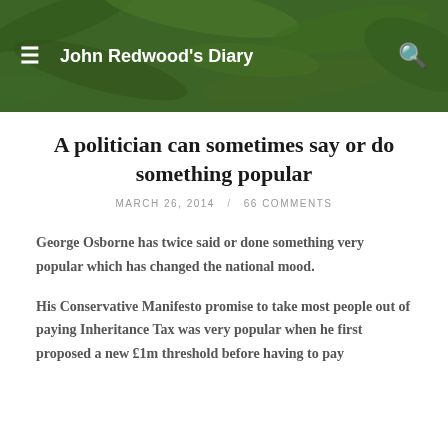John Redwood's Diary
A politician can sometimes say or do something popular
MARCH 26, 2014 / 66 COMMENTS
George Osborne has twice said or done something very popular which has changed the national mood.
His Conservative Manifesto promise to take most people out of paying Inheritance Tax was very popular when he first proposed a new £1m threshold before having to pay